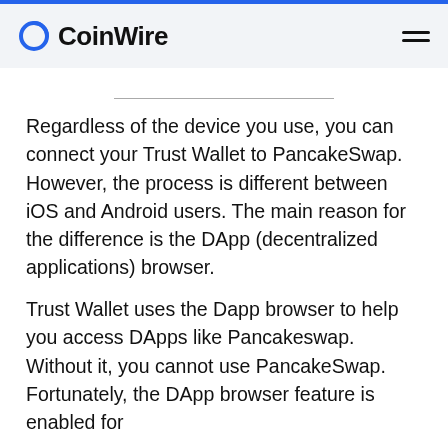CoinWire
Regardless of the device you use, you can connect your Trust Wallet to PancakeSwap. However, the process is different between iOS and Android users. The main reason for the difference is the DApp (decentralized applications) browser.
Trust Wallet uses the Dapp browser to help you access DApps like Pancakeswap. Without it, you cannot use PancakeSwap. Fortunately, the DApp browser feature is enabled for